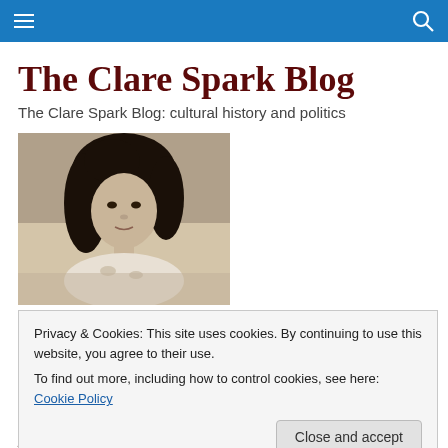Navigation bar with hamburger menu and search icon
The Clare Spark Blog
The Clare Spark Blog: cultural history and politics
[Figure (photo): Black and white portrait photograph of a young woman with dark curly hair]
Privacy & Cookies: This site uses cookies. By continuing to use this website, you agree to their use.
To find out more, including how to control cookies, see here: Cookie Policy
Close and accept
Israel